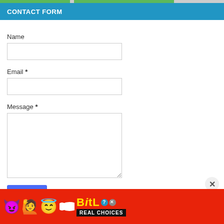CONTACT FORM
Name
Email *
Message *
Send
[Figure (screenshot): BitLife REAL CHOICES advertisement banner with cartoon emojis on red background]